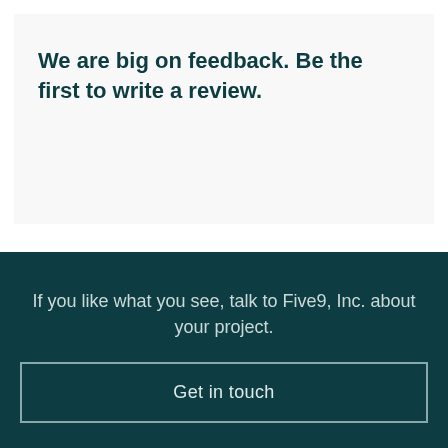We are big on feedback. Be the first to write a review.
If you like what you see, talk to Five9, Inc. about your project.
Get in touch